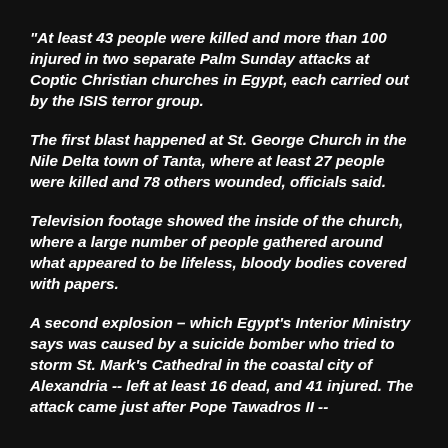"At least 43 people were killed and more than 100 injured in two separate Palm Sunday attacks at Coptic Christian churches in Egypt, each carried out by the ISIS terror group.
The first blast happened at St. George Church in the Nile Delta town of Tanta, where at least 27 people were killed and 78 others wounded, officials said.
Television footage showed the inside of the church, where a large number of people gathered around what appeared to be lifeless, bloody bodies covered with papers.
A second explosion – which Egypt's Interior Ministry says was caused by a suicide bomber who tried to storm St. Mark's Cathedral in the coastal city of Alexandria -- left at least 16 dead, and 41 injured. The attack came just after Pope Tawadros II --